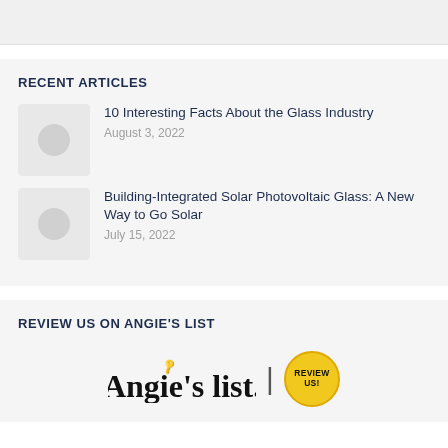RECENT ARTICLES
10 Interesting Facts About the Glass Industry
August 3, 2022
Building-Integrated Solar Photovoltaic Glass: A New Way to Go Solar
July 15, 2022
REVIEW US ON ANGIE'S LIST
[Figure (logo): Angie's list logo with 'Review Us!' badge]